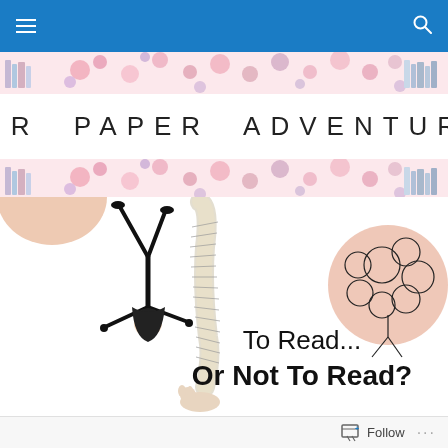Navigation bar with hamburger menu and search icon
[Figure (illustration): Decorative floral banner strip with pink and purple flowers and illustrated books on either side, above and below the site title]
HER PAPER ADVENTURE
[Figure (illustration): Decorative illustration of a person doing a handstand reading a long scroll of book text, with a peach semicircle top-left and a peach circle with black line-drawn flowers top-right. Center text reads 'To Read... Or Not To Read?']
Follow ···